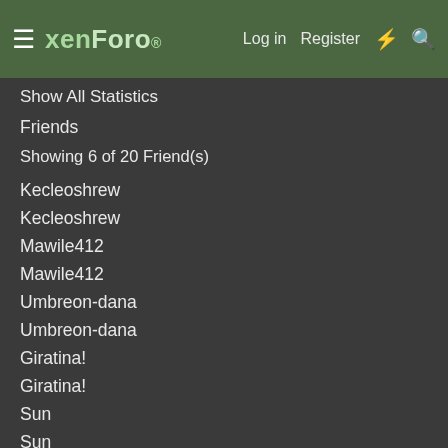xenForo — Log in | Register
Show All Statistics
Friends
Showing 6 of 20 Friend(s)
Kecleoshrew
Kecleoshrew
Mawile412
Mawile412
Umbreon-dana
Umbreon-dana
Giratina!
Giratina!
Sun
Sun
Yo Shee
Yo Shee
Show All Friends
Recent Visitors